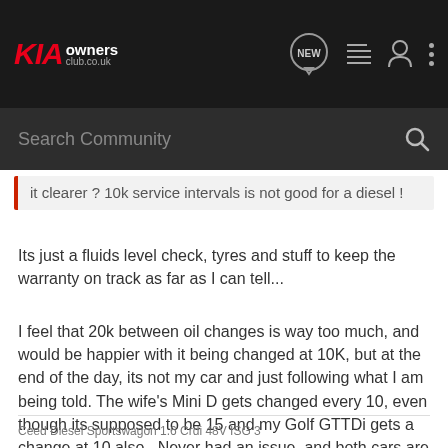[Figure (screenshot): KIA Owners Club navigation bar with logo, NEW speech bubble icon, list icon, user icon, and three-dot menu icon on dark background]
[Figure (screenshot): Search Community search bar on dark background with magnifying glass icon]
it clearer ? 10k service intervals is not good for a diesel !
Its just a fluids level check, tyres and stuff to keep the warranty on track as far as I can tell...
I feel that 20k between oil changes is way too much, and would be happier with it being changed at 10K, but at the end of the day, its not my car and just following what I am being told. The wife's Mini D gets changed every 10, even though its supposed to be 15 and my Golf GTTDi gets a change at 10 also...Never had an issue, and both cars are now showing 140k+ on the clocks ..
Ceed Diesel Sportswagon 1.6 Crdi 48V ISG 3